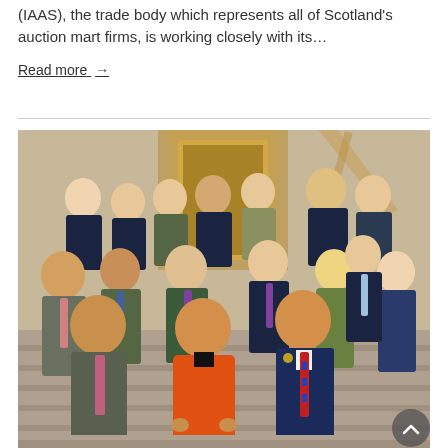(IAAS), the trade body which represents all of Scotland's auction mart firms, is working closely with its…
Read more →
[Figure (photo): Group photo of approximately 15 people standing on steps inside what appears to be a public building (likely the Scottish Parliament). A woman in an orange coat and a man in a navy suit with a red and blue striped tie stand in the foreground. Others behind them wear business attire with lanyards/name badges.]